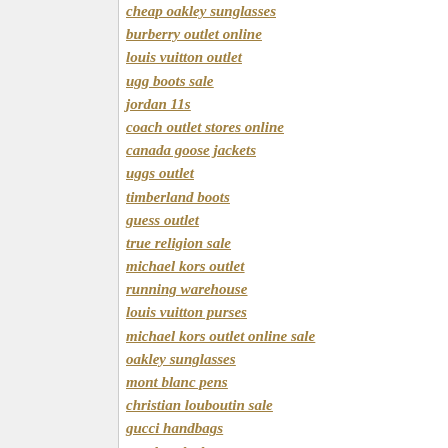cheap oakley sunglasses
burberry outlet online
louis vuitton outlet
ugg boots sale
jordan 11s
coach outlet stores online
canada goose jackets
uggs outlet
timberland boots
guess outlet
true religion sale
michael kors outlet
running warehouse
louis vuitton purses
michael kors outlet online sale
oakley sunglasses
mont blanc pens
christian louboutin sale
gucci handbags
tory burch shoes
adidas wings
fitflops
canada goose outlet